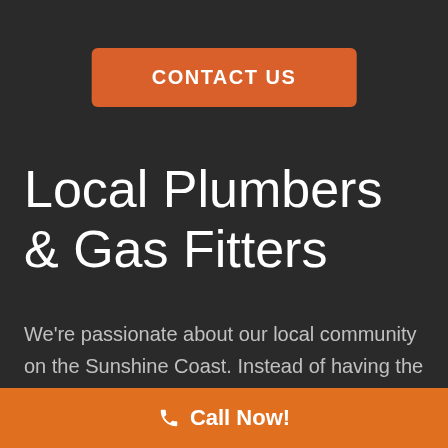CONTACT US
Local Plumbers & Gas Fitters
We're passionate about our local community on the Sunshine Coast. Instead of having the overhead pressures that larger companies do, we're able to be more homely with our clients. This is what's built us to be where we are today. In saying that
Call Now!